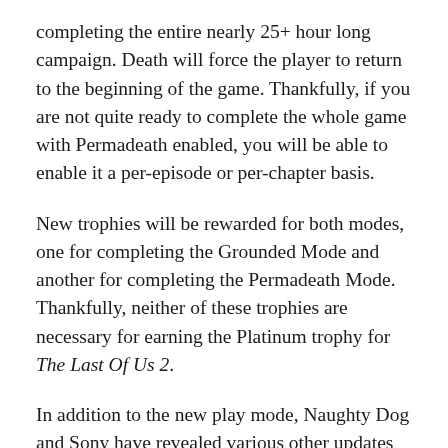completing the entire nearly 25+ hour long campaign. Death will force the player to return to the beginning of the game. Thankfully, if you are not quite ready to complete the whole game with Permadeath enabled, you will be able to enable it a per-episode or per-chapter basis.
New trophies will be rewarded for both modes, one for completing the Grounded Mode and another for completing the Permadeath Mode. Thankfully, neither of these trophies are necessary for earning the Platinum trophy for The Last Of Us 2.
In addition to the new play mode, Naughty Dog and Sony have revealed various other updates included in the Grounded update package including nearly 30 new graphic rendering modes – including cel-shaded and